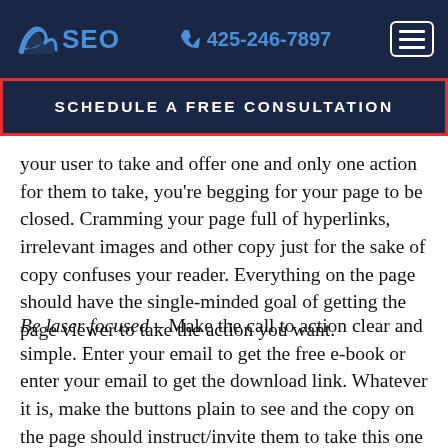SEO — 425-246-7897
SCHEDULE A FREE CONSULTATION
your user to take and offer one and only one action for them to take, you're begging for your page to be closed. Cramming your page full of hyperlinks, irrelevant images and other copy just for the sake of copy confuses your reader. Everything on the page should have the single-minded goal of getting the page viewer to take the action you want.
Be laser focused – Make the call to action clear and simple. Enter your email to get the free e-book or enter your email to get the download link. Whatever it is, make the buttons plain to see and the copy on the page should instruct/invite them to take this one action. Don't send them to other pages, don't